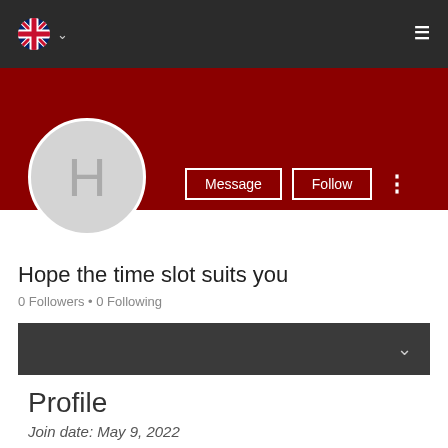[Figure (screenshot): Website navigation bar with UK flag, dropdown chevron, and hamburger menu on dark background]
[Figure (illustration): Red banner/header area of user profile page]
Message
Follow
[Figure (illustration): Circular grey avatar with letter H]
Hope the time slot suits you
0 Followers • 0 Following
[Figure (illustration): Dark grey collapsible section bar with chevron]
Profile
Join date: May 9, 2022